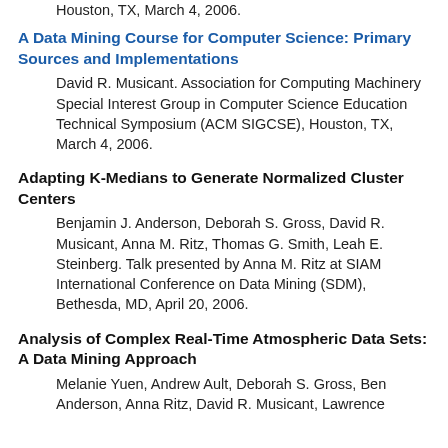Houston, TX, March 4, 2006.
A Data Mining Course for Computer Science: Primary Sources and Implementations
David R. Musicant. Association for Computing Machinery Special Interest Group in Computer Science Education Technical Symposium (ACM SIGCSE), Houston, TX, March 4, 2006.
Adapting K-Medians to Generate Normalized Cluster Centers
Benjamin J. Anderson, Deborah S. Gross, David R. Musicant, Anna M. Ritz, Thomas G. Smith, Leah E. Steinberg. Talk presented by Anna M. Ritz at SIAM International Conference on Data Mining (SDM), Bethesda, MD, April 20, 2006.
Analysis of Complex Real-Time Atmospheric Data Sets: A Data Mining Approach
Melanie Yuen, Andrew Ault, Deborah S. Gross, Ben Anderson, Anna Ritz, David R. Musicant, Lawrence...